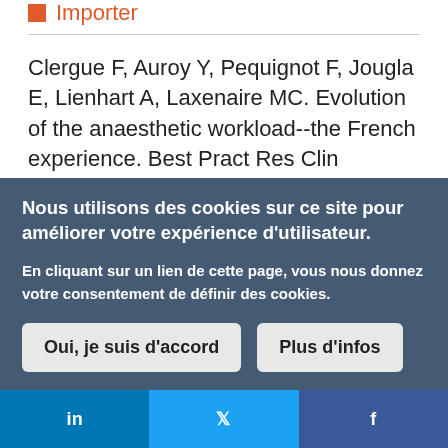Importer
Clergue F, Auroy Y, Pequignot F, Jougla E, Lienhart A, Laxenaire MC. Evolution of the anaesthetic workload--the French experience. Best Pract Res Clin Anaesthesiol. 2002 Sep;16(3):459–73.
Importer
Nous utilisons des cookies sur ce site pour améliorer votre expérience d'utilisateur.
En cliquant sur un lien de cette page, vous nous donnez votre consentement de définir des cookies.
Oui, je suis d'accord   Plus d'infos
in   Twitter   f